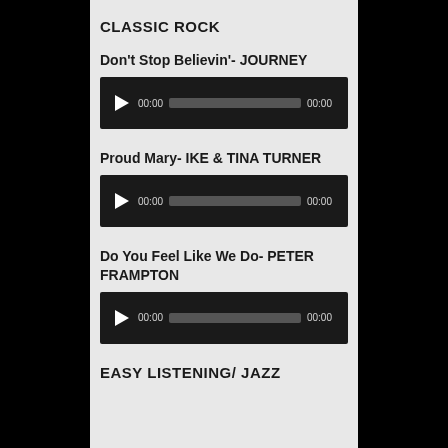CLASSIC ROCK
Don't Stop Believin'- JOURNEY
[Figure (other): Audio player with play button, 00:00 time, progress bar, 00:00 duration]
Proud Mary- IKE & TINA TURNER
[Figure (other): Audio player with play button, 00:00 time, progress bar, 00:00 duration]
Do You Feel Like We Do- PETER FRAMPTON
[Figure (other): Audio player with play button, 00:00 time, progress bar, 00:00 duration]
EASY LISTENING/ JAZZ